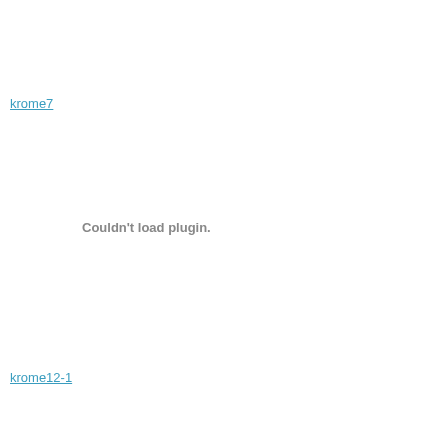krome7
Couldn't load plugin.
krome12-1